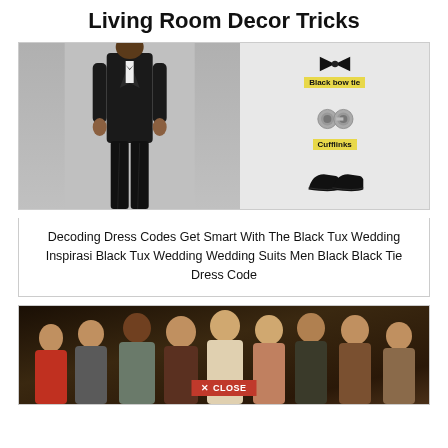Living Room Decor Tricks
[Figure (photo): Man in black tuxedo on the left; right side shows accessories: black bow tie with yellow label, cufflinks with yellow label, and black dress shoes]
Decoding Dress Codes Get Smart With The Black Tux Wedding Inspirasi Black Tux Wedding Wedding Suits Men Black Black Tie Dress Code
[Figure (photo): Group photo of multiple people standing together, with a red CLOSE button overlay at the bottom center]